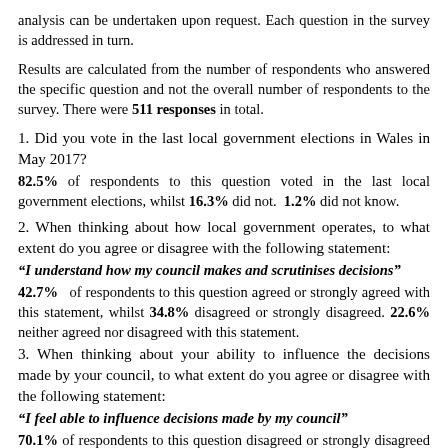analysis can be undertaken upon request. Each question in the survey is addressed in turn.
Results are calculated from the number of respondents who answered the specific question and not the overall number of respondents to the survey. There were 511 responses in total.
1. Did you vote in the last local government elections in Wales in May 2017?
82.5% of respondents to this question voted in the last local government elections, whilst 16.3% did not. 1.2% did not know.
2. When thinking about how local government operates, to what extent do you agree or disagree with the following statement:
“I understand how my council makes and scrutinises decisions”
42.7% of respondents to this question agreed or strongly agreed with this statement, whilst 34.8% disagreed or strongly disagreed. 22.6% neither agreed nor disagreed with this statement.
3. When thinking about your ability to influence the decisions made by your council, to what extent do you agree or disagree with the following statement:
“I feel able to influence decisions made by my council”
70.1% of respondents to this question disagreed or strongly disagreed with this statement, whilst 14.2% agreed or strongly agreed. 15.8% neither agreed nor disagreed with this statement.